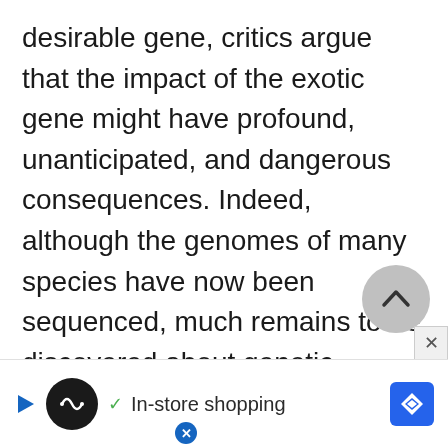desirable gene, critics argue that the impact of the exotic gene might have profound, unanticipated, and dangerous consequences. Indeed, although the genomes of many species have now been sequenced, much remains to be discovered about genetic regulation. The addition of exotic genes into widely used crops raises the possibility that GM foods could provoke allergic reactions in susceptible individuals. Another con[tinue]